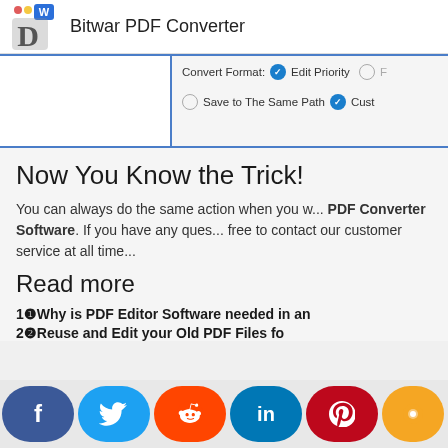Bitwar PDF Converter
[Figure (screenshot): Screenshot of Bitwar PDF Converter app showing Convert Format with Edit Priority checked and Save to The Same Path / Custom options]
Now You Know the Trick!
You can always do the same action when you w... PDF Converter Software. If you have any ques... free to contact our customer service at all time...
Read more
1❶Why is PDF Editor Software needed in an...
2❷Reuse and Edit your Old PDF Files fo...